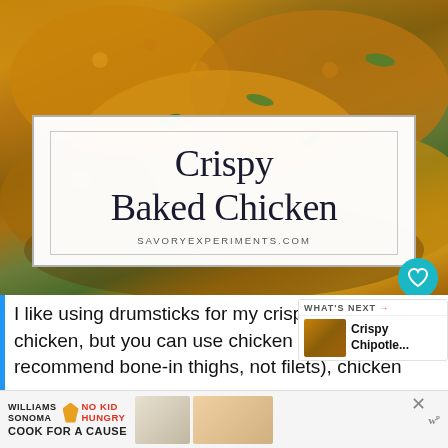[Figure (photo): Close-up photo of crispy baked chicken drumsticks with golden-brown breading and green herb garnish]
Crispy Baked Chicken
SAVORYEXPERIMENTS.COM
I like using drumsticks for my crispy baked chicken, but you can use chicken thighs (I recommend bone-in thighs, not filets), chicken
[Figure (photo): What's Next thumbnail - Crispy Chipotle... recipe image]
WHAT'S NEXT → Crispy Chipotle...
[Figure (photo): Williams-Sonoma No Kid Hungry Cook for a Cause advertisement banner]